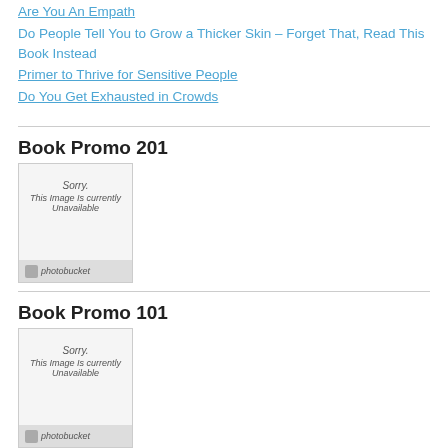Are You An Empath
Do People Tell You to Grow a Thicker Skin – Forget That, Read This Book Instead
Primer to Thrive for Sensitive People
Do You Get Exhausted in Crowds
Book Promo 201
[Figure (screenshot): Photobucket placeholder image showing 'Sorry. This Image Is currently Unavailable' with photobucket logo at bottom]
Book Promo 101
[Figure (screenshot): Photobucket placeholder image showing 'Sorry. This Image Is currently Unavailable' with photobucket logo at bottom]